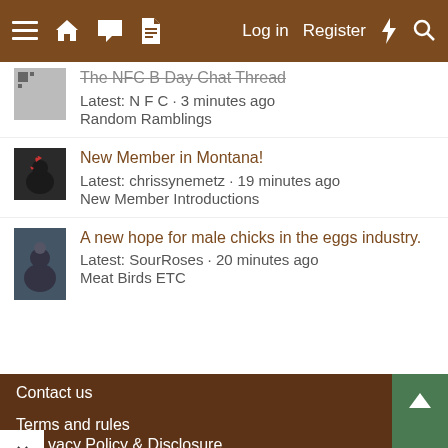Log in  Register
The NFC B Day Chat Thread — Latest: N F C · 3 minutes ago — Random Ramblings
New Member in Montana! — Latest: chrissynemetz · 19 minutes ago — New Member Introductions
A new hope for male chicks in the eggs industry. — Latest: SourRoses · 20 minutes ago — Meat Birds ETC
Contact us
Terms and rules
vacy Policy & Disclosure
Help